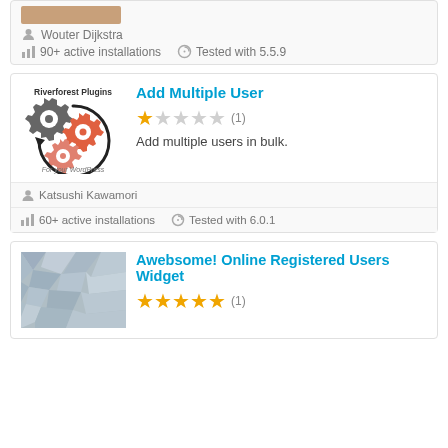[Figure (screenshot): Top partial card showing a cropped image thumbnail at top left]
Wouter Dijkstra
90+ active installations
Tested with 5.5.9
[Figure (logo): Riverforest Plugins logo with three interlocking gears and text 'For your WordPress']
Add Multiple User
1 out of 5 stars (1)
Add multiple users in bulk.
Katsushi Kawamori
60+ active installations
Tested with 6.0.1
Awebsome! Online Registered Users Widget
5 out of 5 stars (1)
[Figure (photo): Geometric grey polygon pattern image thumbnail for Awebsome! Online Registered Users Widget]